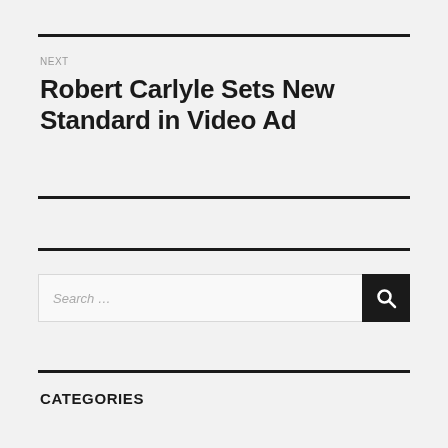NEXT
Robert Carlyle Sets New Standard in Video Ad
CATEGORIES